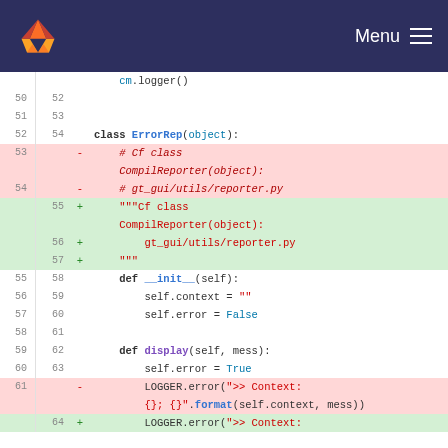GitLab Menu
[Figure (screenshot): GitLab code diff view showing Python file with deleted and added lines for ErrorRep class definition replacing comment-style docstring with triple-quoted docstring, and def __init__ and def display methods.]